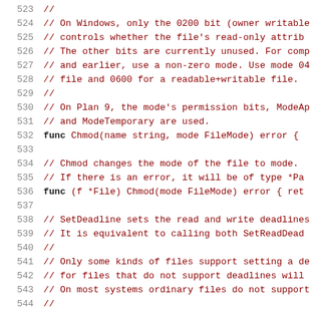[Figure (screenshot): Source code listing (Go language) showing lines 524–544 with line numbers on the left in gray and code/comments on the right in dark red monospace font. Comments describe Chmod and SetDeadline functions.]